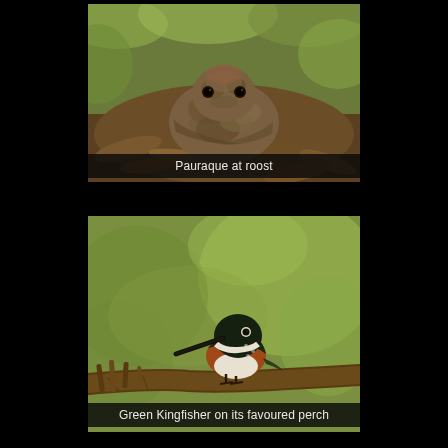[Figure (photo): A Pauraque bird camouflaged at roost among dried leaves on the ground, viewed from low angle showing its face]
Pauraque at roost
[Figure (photo): A Green Kingfisher bird perched on a branch, showing its distinctive dark green head, white collar, rufous breast, and long pointed beak, with blurred green foliage background]
Green Kingfisher on its favoured perch